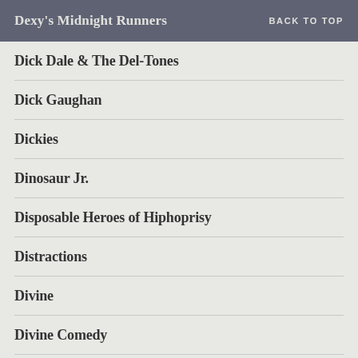Dexy's Midnight Runners  BACK TO TOP
Dick Dale & The Del-Tones
Dick Gaughan
Dickies
Dinosaur Jr.
Disposable Heroes of Hiphoprisy
Distractions
Divine
Divine Comedy
Dizzee Rascal
DJ Food
Django Django
Dogs Die In Hot Cars